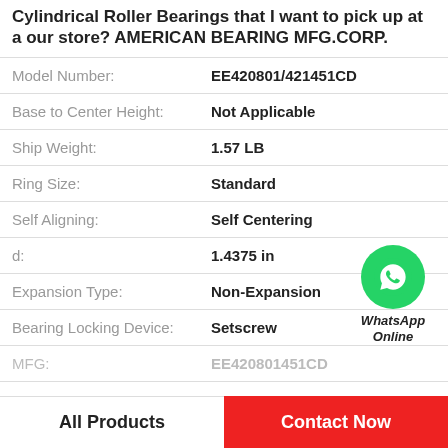Cylindrical Roller Bearings that I want to pick up at a our store? AMERICAN BEARING MFG.CORP.
| Property | Value |
| --- | --- |
| Model Number: | EE420801/421451CD |
| Base to Center Height: | Not Applicable |
| Ship Weight: | 1.57 LB |
| Ring Size: | Standard |
| Self Aligning: | Self Centering |
| d: | 1.4375 in |
| Expansion Type: | Non-Expansion |
| Bearing Locking Device: | Setscrew |
| MFG: | EE420801451CD |
[Figure (logo): WhatsApp Online green circle icon with phone handset, label reads WhatsApp Online]
All Products
Contact Now